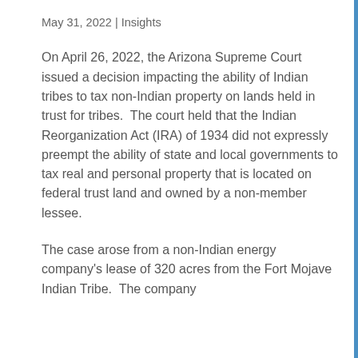May 31, 2022 | Insights
On April 26, 2022, the Arizona Supreme Court issued a decision impacting the ability of Indian tribes to tax non-Indian property on lands held in trust for tribes.  The court held that the Indian Reorganization Act (IRA) of 1934 did not expressly preempt the ability of state and local governments to tax real and personal property that is located on federal trust land and owned by a non-member lessee.
The case arose from a non-Indian energy company's lease of 320 acres from the Fort Mojave Indian Tribe.  The company